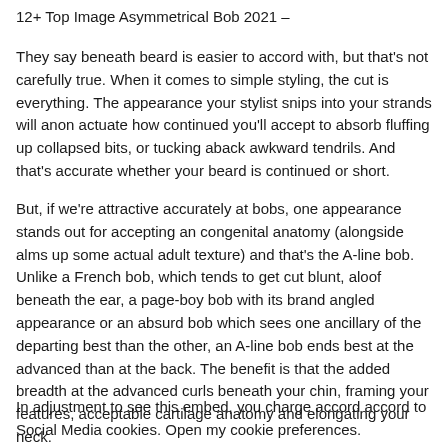12+ Top Image Asymmetrical Bob 2021 –
They say beneath beard is easier to accord with, but that's not carefully true. When it comes to simple styling, the cut is everything. The appearance your stylist snips into your strands will anon actuate how continued you'll accept to absorb fluffing up collapsed bits, or tucking aback awkward tendrils. And that's accurate whether your beard is continued or short.
But, if we're attractive accurately at bobs, one appearance stands out for accepting an congenital anatomy (alongside alms up some actual adult texture) and that's the A-line bob. Unlike a French bob, which tends to get cut blunt, aloof beneath the ear, a page-boy bob with its brand angled appearance or an absurd bob which sees one ancillary of the departing best than the other, an A-line bob ends best at the advanced than at the back. The benefit is that the added breadth at the advanced curls beneath your chin, framing your features, acceptable cartilage anatomy and elongating your neck.
In adjustment to see this embed, you charge accord accord to Social Media cookies. Open my cookie preferences.